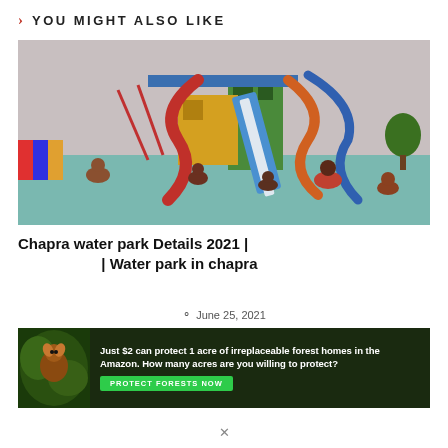> YOU MIGHT ALSO LIKE
[Figure (photo): Water park with colorful slides and people in pool, Chapra water park]
Chapra water park Details 2021 | | Water park in chapra
June 25, 2021
[Figure (infographic): Advertisement: Just $2 can protect 1 acre of irreplaceable forest homes in the Amazon. How many acres are you willing to protect? PROTECT FORESTS NOW]